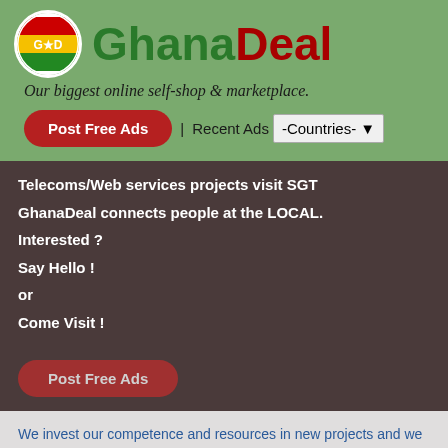[Figure (logo): GhanaDeal logo with circular Ghana flag icon and brand name Ghana in green, Deal in dark red]
Our biggest online self-shop & marketplace.
Post Free Ads | Recent Ads -Countries-
Telecoms/Web services projects visit SGT
GhanaDeal connects people at the LOCAL.
Interested ?
Say Hello !
or
Come Visit !
Post Free Ads
We invest our competence and resources in new projects and we envisage:
Great ideas, conceived and run by dedicated  and skilled enterpreneurs with strong technical background.
Investors to fund or support full progress of each of our ideas and projects.
A network of talented people to work with.